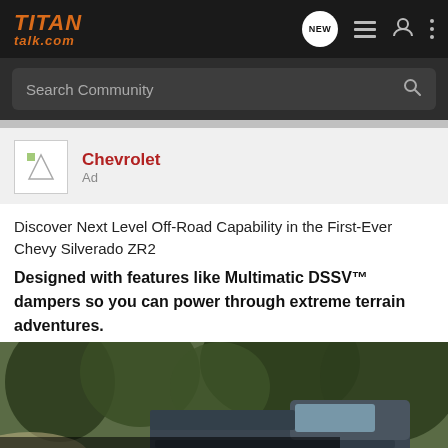TITAN talk.com
Search Community
Chevrolet
Ad
Discover Next Level Off-Road Capability in the First-Ever Chevy Silverado ZR2
Designed with features like Multimatic DSSV™ dampers so you can power through extreme terrain adventures.
[Figure (photo): Outdoor forest scene with a 2022 Chevrolet Silverado truck. Text reads THE NEW 2022 SILVERADO. with an Explore button and Chevrolet logo.]